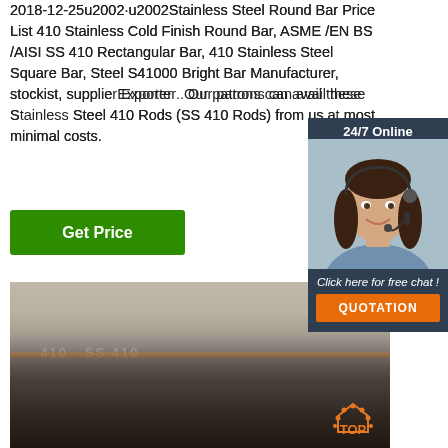2018-12-25u2002·u2002Stainless Steel Round Bar Price List 410 Stainless Cold Finish Round Bar, ASME /EN BS /AISI SS 410 Rectangular Bar, 410 Stainless Steel Square Bar, Steel S41000 Bright Bar Manufacturer, stockist, supplier, Exporter . Our patrons can avail these Stainless Steel 410 Rods (SS 410 Rods) from us at most minimal costs.
[Figure (other): Get Price green button]
[Figure (other): 24/7 Online chat widget with female customer service agent photo, dark blue background, 'Click here for free chat!' text, and orange QUOTATION button]
[Figure (photo): Photo of stainless steel flat bar/sheet stock with markings visible, showing metallic surface with rust/oxidation at bottom edge. TOP badge logo in bottom right corner.]